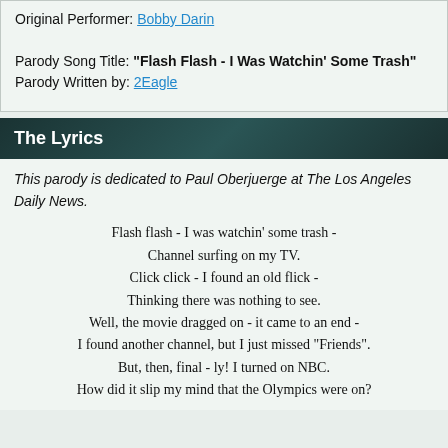Original Performer: Bobby Darin
Parody Song Title: "Flash Flash - I Was Watchin' Some Trash"
Parody Written by: 2Eagle
The Lyrics
This parody is dedicated to Paul Oberjuerge at The Los Angeles Daily News.
Flash flash - I was watchin' some trash -
Channel surfing on my TV.
Click click - I found an old flick -
Thinking there was nothing to see.
Well, the movie dragged on - it came to an end -
I found another channel, but I just missed "Friends".
But, then, final - ly! I turned on NBC.
How did it slip my mind that the Olympics were on?